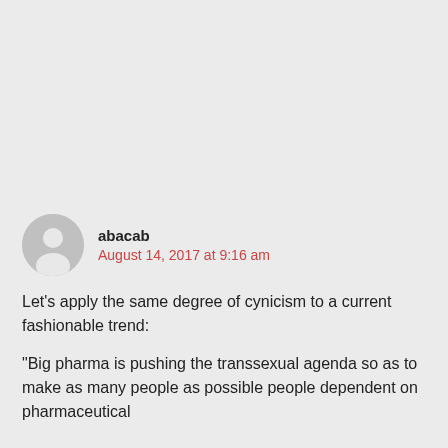abacab
August 14, 2017 at 9:16 am
Let's apply the same degree of cynicism to a current fashionable trend:
"Big pharma is pushing the transsexual agenda so as to make as many people as possible people dependent on pharmaceutical